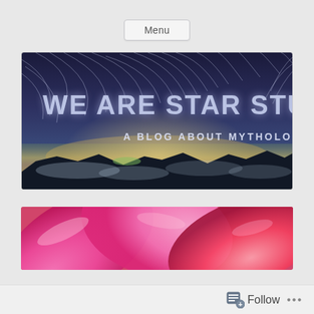Menu
[Figure (photo): Banner image for 'We Are Star Stuff' blog. Night sky with star trails over mountain landscape with glowing horizon. Text overlay reads 'WE ARE STAR STUFF' and 'A BLOG ABOUT MYTHOLOGY']
[Figure (photo): Close-up photo of pink/magenta flower petals, partially cropped at bottom of page]
Follow ...